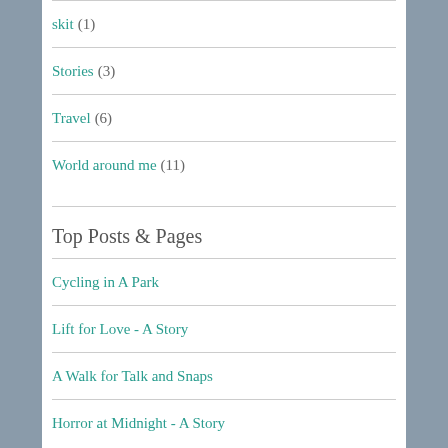skit (1)
Stories (3)
Travel (6)
World around me (11)
Top Posts & Pages
Cycling in A Park
Lift for Love - A Story
A Walk for Talk and Snaps
Horror at Midnight - A Story